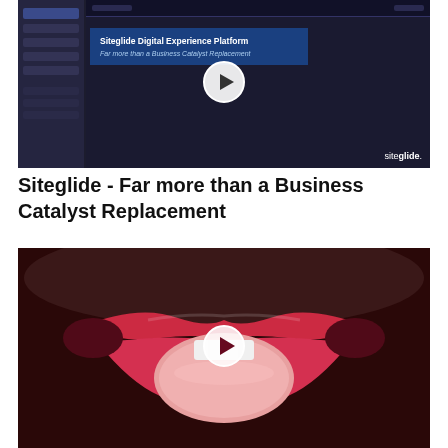[Figure (screenshot): Video thumbnail showing Siteglide Digital Experience Platform interface with dark background, sidebar navigation, blue banner reading 'Siteglide Digital Experience Platform - Far more than a Business Catalyst Replacement', play button overlay, and siteglide logo]
Siteglide - Far more than a Business Catalyst Replacement
[Figure (photo): Close-up photo of lips with red lipstick and tongue showing, with a white circular play button overlay in the center]